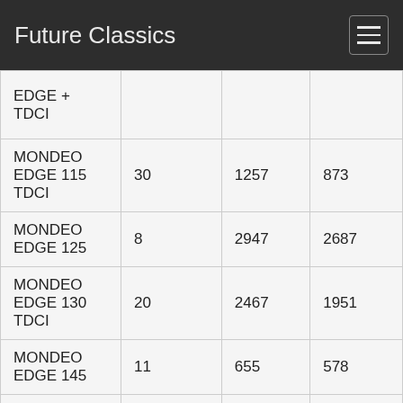Future Classics
| EDGE + TDCI |  |  |  |
| MONDEO EDGE 115 TDCI | 30 | 1257 | 873 |
| MONDEO EDGE 125 | 8 | 2947 | 2687 |
| MONDEO EDGE 130 TDCI | 20 | 2467 | 1951 |
| MONDEO EDGE 145 | 11 | 655 | 578 |
| MONDEO EDGE 155 | 14 | 612 | 523 |
| MONDEO EDGE A | 9 | 94 | 85 |